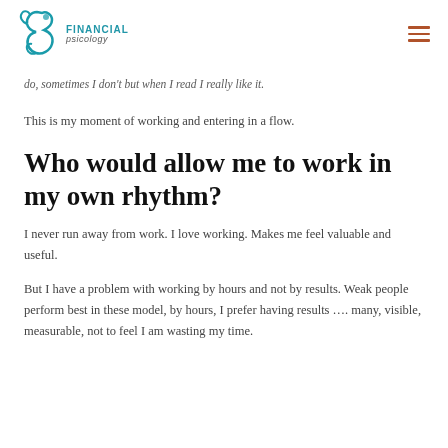Financial Psicology (logo)
do, sometimes I don't but when I read I really like it.
This is my moment of working and entering in a flow.
Who would allow me to work in my own rhythm?
I never run away from work. I love working. Makes me feel valuable and useful.
But I have a problem with working by hours and not by results. Weak people perform best in these model, by hours, I prefer having results …. many, visible, measurable, not to feel I am wasting my time.